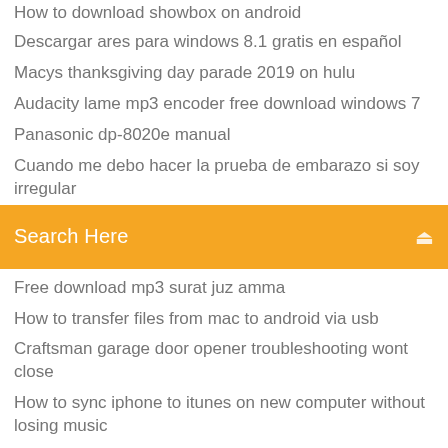How to download showbox on android
Descargar ares para windows 8.1 gratis en español
Macys thanksgiving day parade 2019 on hulu
Audacity lame mp3 encoder free download windows 7
Panasonic dp-8020e manual
Cuando me debo hacer la prueba de embarazo si soy irregular
[Figure (other): Orange search bar with text 'Search Here' and a search icon on the right]
Free download mp3 surat juz amma
How to transfer files from mac to android via usb
Craftsman garage door opener troubleshooting wont close
How to sync iphone to itunes on new computer without losing music
Free download windows movie maker xp full version
Free typing master free download full version 2019
Is youtube down for everyone or just me 2019
Cele mai bune medicamente pentru ficat gras
Maple 13 free download for windows 7